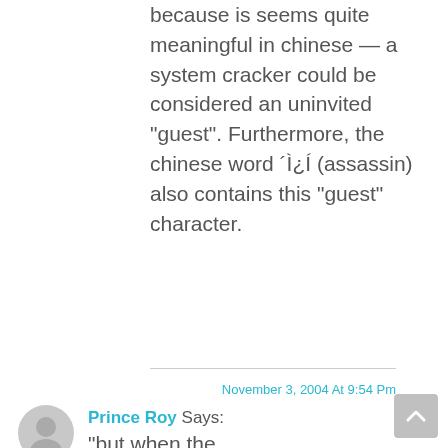because is seems quite meaningful in chinese — a system cracker could be considered an uninvited “guest”. Furthermore, the chinese word ʹì¿í (assassin) also contains this “guest” character.
REPLY
November 3, 2004 At 9:54 Pm
Prince Roy Says:
“but when the